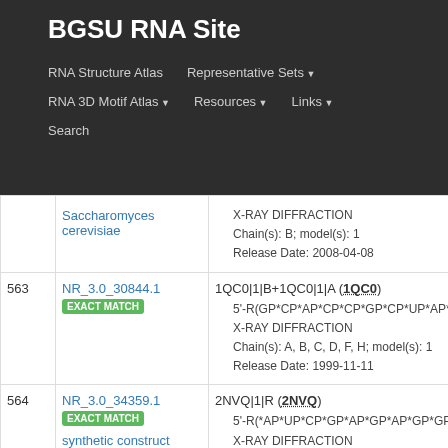BGSU RNA Site
RNA Structure Atlas
Representative Sets
RNA 3D Motif Atlas
Resources
Links
Search
| # | ID | Info |
| --- | --- | --- |
|  | Saccharomyces cerevisiae | X-RAY DIFFRACTION | Chain(s): B; model(s): 1 | Release Date: 2008-04-08 |
| 563 | NR_3.0_30844.1 EXACT MATCH | 1QC0|1|B+1QC0|1|A (1QC0) | 5'-R(GP*CP*AP*CP*CP*GP*CP*UP*AP*C... | X-RAY DIFFRACTION | Chain(s): A, B, C, D, F, H; model(s): 1 | Release Date: 1999-11-11 |
| 564 | NR_3.0_34359.1 EXACT MATCH synthetic construct | 2NVQ|1|R (2NVQ) | 5'-R(*AP*UP*CP*GP*AP*GP*AP*GP*GP*... | X-RAY DIFFRACTION | Chain(s): R; model(s): 1 | Release Date: 2006-12-12 |